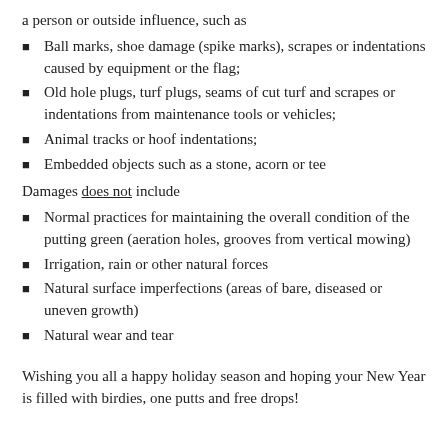a person or outside influence, such as
Ball marks, shoe damage (spike marks), scrapes or indentations caused by equipment or the flag;
Old hole plugs, turf plugs, seams of cut turf and scrapes or indentations from maintenance tools or vehicles;
Animal tracks or hoof indentations;
Embedded objects such as a stone, acorn or tee
Damages does not include
Normal practices for maintaining the overall condition of the putting green (aeration holes, grooves from vertical mowing)
Irrigation, rain or other natural forces
Natural surface imperfections (areas of bare, diseased or uneven growth)
Natural wear and tear
Wishing you all a happy holiday season and hoping your New Year is filled with birdies, one putts and free drops!